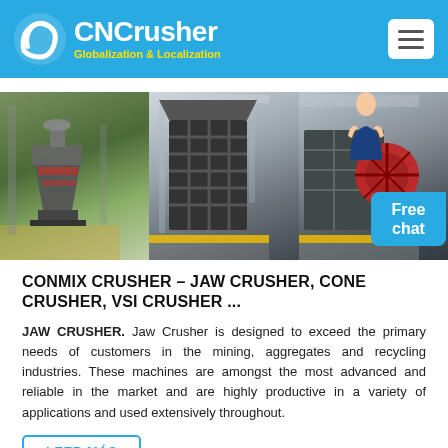CNCrusher — Globalization & Localization
[Figure (photo): Three industrial crusher machines displayed side by side in a factory/warehouse setting. Left: a cone/gyratory crusher in green/red colors. Center: a jaw crusher in dark gray. Right: a large jaw crusher with red flywheel. A woman in business attire appears in the top-right corner near a 'Free chat' bubble.]
CONMIX CRUSHER – JAW CRUSHER, CONE CRUSHER, VSI CRUSHER ...
JAW CRUSHER. Jaw Crusher is designed to exceed the primary needs of customers in the mining, aggregates and recycling industries. These machines are amongst the most advanced and reliable in the market and are highly productive in a variety of applications and used extensively throughout.
LEER MÁS